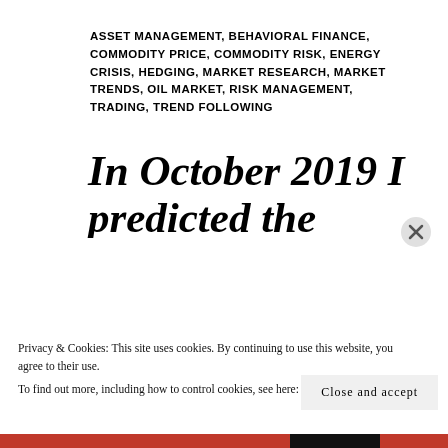ASSET MANAGEMENT, BEHAVIORAL FINANCE, COMMODITY PRICE, COMMODITY RISK, ENERGY CRISIS, HEDGING, MARKET RESEARCH, MARKET TRENDS, OIL MARKET, RISK MANAGEMENT, TRADING, TREND FOLLOWING
In October 2019 I predicted the current oil price collapse. How I knew? Here is
Privacy & Cookies: This site uses cookies. By continuing to use this website, you agree to their use.
To find out more, including how to control cookies, see here: Cookie Policy
Close and accept